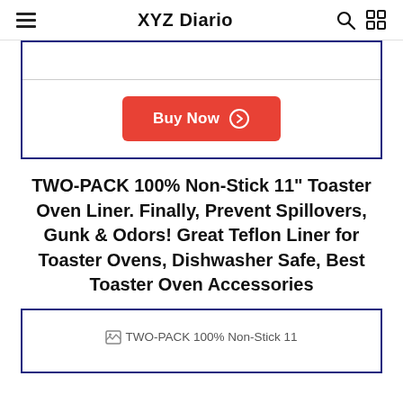XYZ Diario
[Figure (other): Product card top portion with a horizontal divider line and a red 'Buy Now' button with a circle-arrow icon, framed by a dark blue border.]
TWO-PACK 100% Non-Stick 11" Toaster Oven Liner. Finally, Prevent Spillovers, Gunk & Odors! Great Teflon Liner for Toaster Ovens, Dishwasher Safe, Best Toaster Oven Accessories
[Figure (other): Product card bottom portion with a broken image placeholder labeled 'TWO-PACK 100% Non-Stick 11', framed by a dark blue border.]